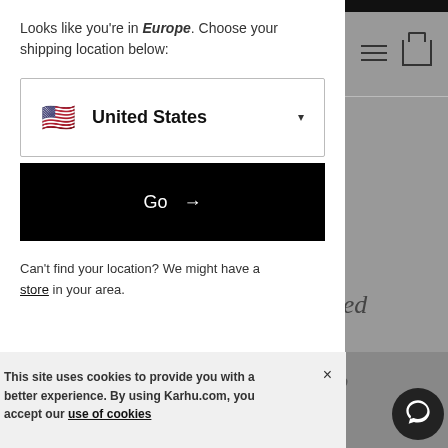Looks like you're in Europe. Choose your shipping location below:
United States
Go →
Can't find your location? We might have a store in your area.
lslated
This site uses cookies to provide you with a better experience. By using Karhu.com, you accept our use of cookies
hen yo